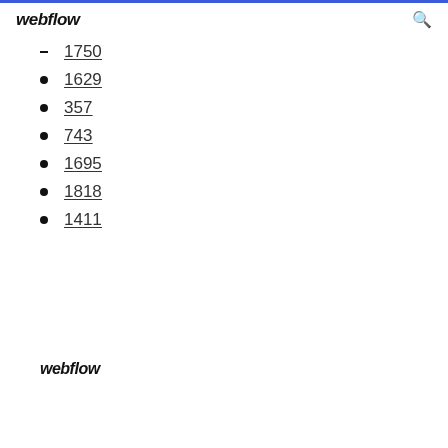webflow
1750
1629
357
743
1695
1818
1411
webflow